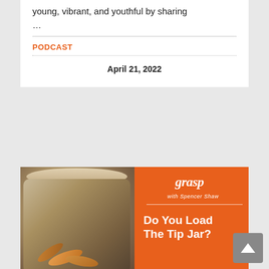young, vibrant, and youthful by sharing …
PODCAST
April 21, 2022
[Figure (photo): Podcast thumbnail image: left half shows a glass jar filled with coins (copper pennies), right half is orange background with white script logo text and bold white text reading 'Do You Load The Tip Jar?']
Do You Load The Tip Jar? – Episode 130